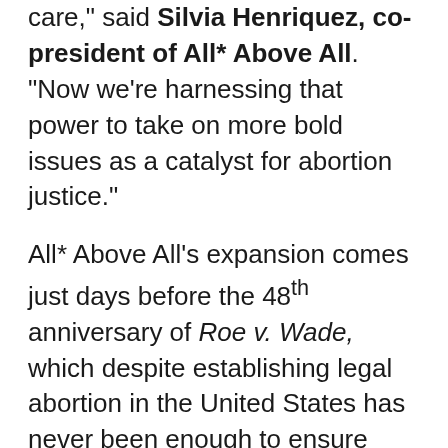care," said Silvia Henriquez, co-president of All* Above All. "Now we're harnessing that power to take on more bold issues as a catalyst for abortion justice."
All* Above All's expansion comes just days before the 48th anniversary of Roe v. Wade, which despite establishing legal abortion in the United States has never been enough to ensure people can get the care they need, especially those working to make ends meet. For decades, restrictions like the Hyde Amendment and hundreds of state laws designed to push abortion care out of reach and shut down abortion clinics have fallen hardest on people struggling financially.